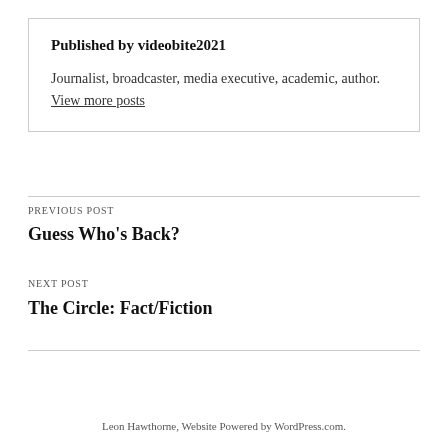Published by videobite2021
Journalist, broadcaster, media executive, academic, author. View more posts
PREVIOUS POST
Guess Who's Back?
NEXT POST
The Circle: Fact/Fiction
Leon Hawthorne, Website Powered by WordPress.com.